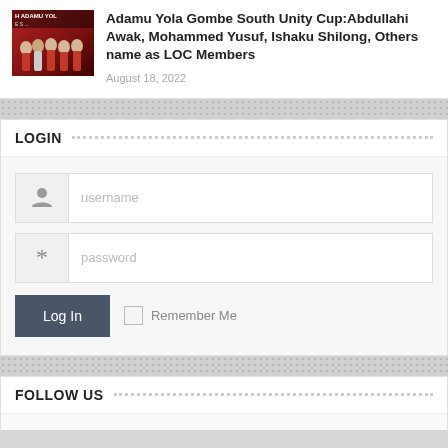[Figure (photo): Thumbnail photo showing a group of people, some in red jerseys, with text overlay 'H ADAMU YOL...' on the image]
Adamu Yola Gombe South Unity Cup:Abdullahi Awak, Mohammed Yusuf, Ishaku Shilong, Others name as LOC Members
August 18, 2022
LOGIN
username
password
Log In
Remember Me
FOLLOW US